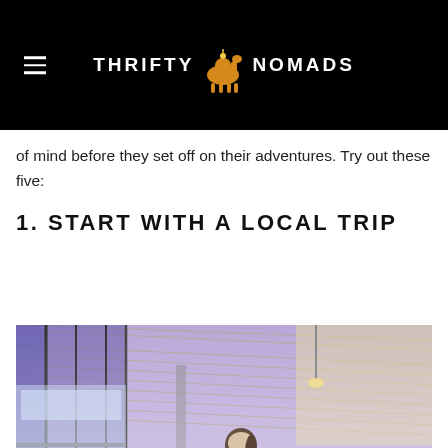THRIFTY NOMADS
of mind before they set off on their adventures. Try out these five:
1. START WITH A LOCAL TRIP
[Figure (photo): A young woman with a yellow backpack reading a map at a train or bus station with purple/blue tinted glass panels and a corrugated metal roof]